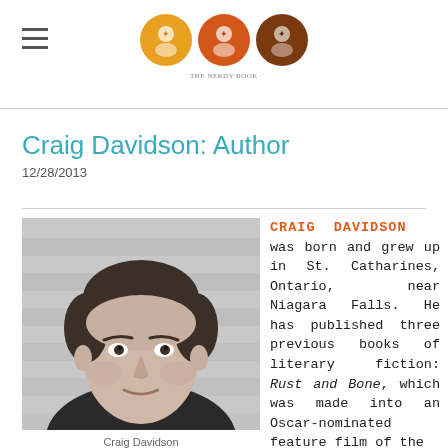[Logo: THE NERDY BOOK - three circle icons in gold, orange, brown]
Craig Davidson: Author
12/28/2013
[Figure (photo): Black and white headshot photo of Craig Davidson, a man with short dark hair wearing a dark t-shirt, against a light background with horizontal stripe patterns]
Craig Davidson
CRAIG DAVIDSON was born and grew up in St. Catharines, Ontario, near Niagara Falls. He has published three previous books of literary fiction: Rust and Bone, which was made into an Oscar-nominated feature film of the